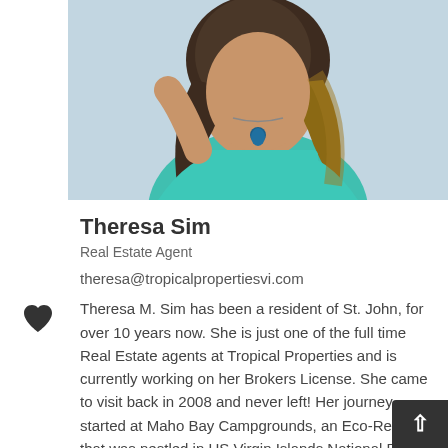[Figure (photo): Portrait photo of Theresa Sim, a woman wearing a turquoise/teal sleeveless top and a blue teardrop pendant necklace, with long dark-to-blonde ombre hair, posed outdoors with a light background.]
Theresa Sim
Real Estate Agent
theresa@tropicalpropertiesvi.com
Theresa M. Sim has been a resident of St. John, for over 10 years now. She is just one of the full time Real Estate agents at Tropical Properties and is currently working on her Brokers License. She came to visit back in 2008 and never left! Her journey started at Maho Bay Campgrounds, an Eco-Resort that was nestled in US Virgin Islands National Park. Since t